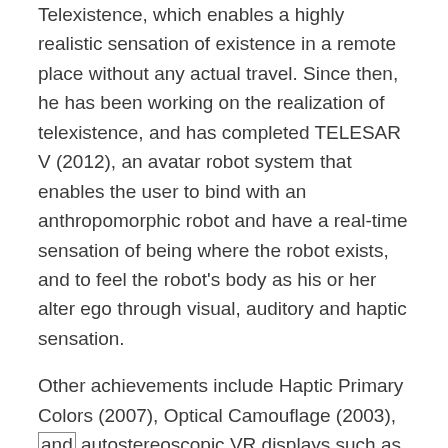Telexistence, which enables a highly realistic sensation of existence in a remote place without any actual travel. Since then, he has been working on the realization of telexistence, and has completed TELESAR V (2012), an avatar robot system that enables the user to bind with an anthropomorphic robot and have a real-time sensation of being where the robot exists, and to feel the robot's body as his or her alter ego through visual, auditory and haptic sensation.
Other achievements include Haptic Primary Colors (2007), Optical Camouflage (2003), and autostereoscopic VR displays such as TWISTER (2002), Repro3D (2010) and HaptoMIRAGE (2014).